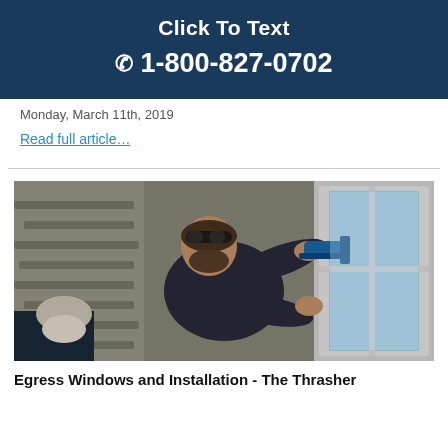Click To Text
📞 1-800-827-0702
Monday, March 11th, 2019
Read full article…
[Figure (photo): A worker installing or caulking an egress window from outside, leaning into a window well area]
Egress Windows and Installation - The Thrasher